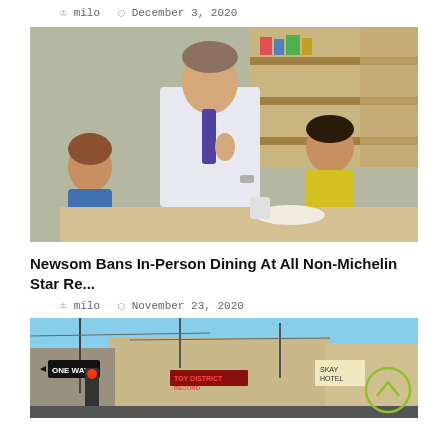milo   December 3, 2020
[Figure (photo): Man in white shirt and purple tie talking with two young children at a table, likely in a classroom or childcare setting]
Newsom Bans In-Person Dining At All Non-Michelin Star Re...
milo   November 23, 2020
[Figure (photo): Street scene with a one-way sign, traffic light, and urban buildings including a Toy District sign and Skid Row Hotel sign]